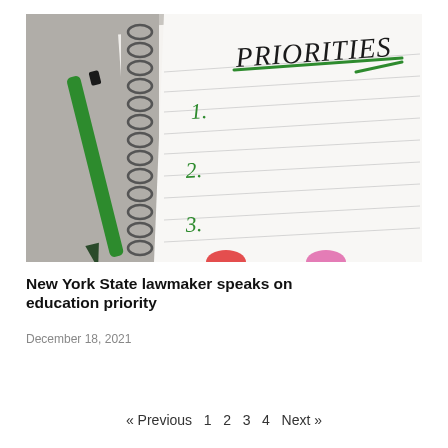[Figure (photo): A spiral-bound notebook open to a lined page with the word 'PRIORITIES' written in black marker at the top and underlined in green marker. Below are the numbers 1, 2, 3 written in green marker. A green pen rests on the left side of the notebook.]
New York State lawmaker speaks on education priority
December 18, 2021
« Previous  1  2  3  4  Next »